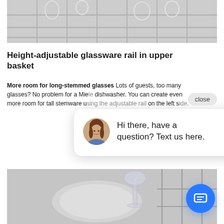[Figure (photo): Close-up photo of dishwasher upper basket with glassware rack, showing chrome wire rack and glass items]
Height-adjustable glassware rail in upper basket
More room for long-stemmed glasses Lots of guests, too many glasses? No problem for a Miele dishwasher. You can create even more room for tall stemware u... on the left s...
[Figure (screenshot): Chat popup overlay with close button, avatar photo of a woman, and message: Hi there, have a question? Text us here. A blue circular chat button with message icon is shown at bottom right.]
[Figure (photo): Close-up photo of dishwasher lower basket with stemware glass visible]